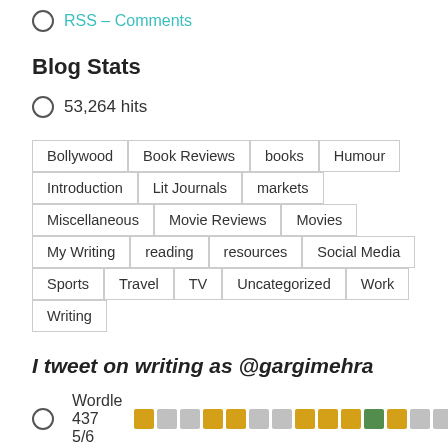RSS - Comments
Blog Stats
53,264 hits
Bollywood Book Reviews books Humour Introduction Lit Journals markets Miscellaneous Movie Reviews Movies My Writing reading resources Social Media Sports Travel TV Uncategorized Work Writing
I tweet on writing as @gargimehra
Wordle 437 5/6